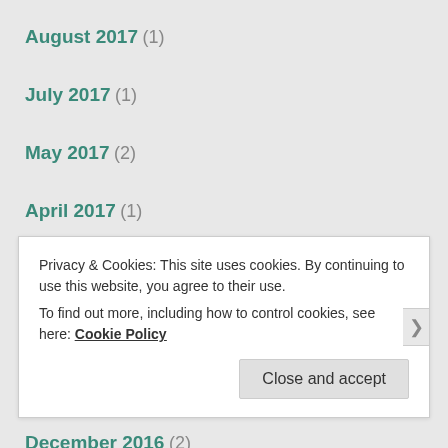August 2017 (1)
July 2017 (1)
May 2017 (2)
April 2017 (1)
March 2017 (3)
February 2017 (3)
January 2017 (3)
December 2016 (2)
Privacy & Cookies: This site uses cookies. By continuing to use this website, you agree to their use. To find out more, including how to control cookies, see here: Cookie Policy
Close and accept